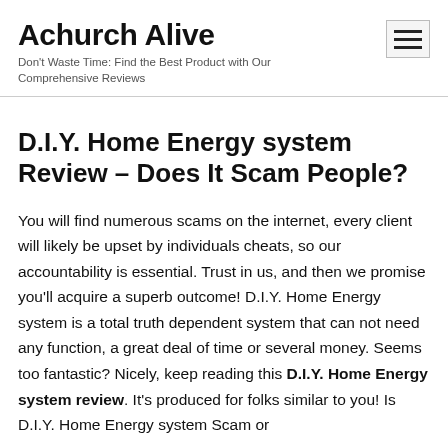Achurch Alive
Don't Waste Time: Find the Best Product with Our Comprehensive Reviews
D.I.Y. Home Energy system Review – Does It Scam People?
You will find numerous scams on the internet, every client will likely be upset by individuals cheats, so our accountability is essential. Trust in us, and then we promise you'll acquire a superb outcome! D.I.Y. Home Energy system is a total truth dependent system that can not need any function, a great deal of time or several money. Seems too fantastic? Nicely, keep reading this D.I.Y. Home Energy system review. It's produced for folks similar to you! Is D.I.Y. Home Energy system Scam or